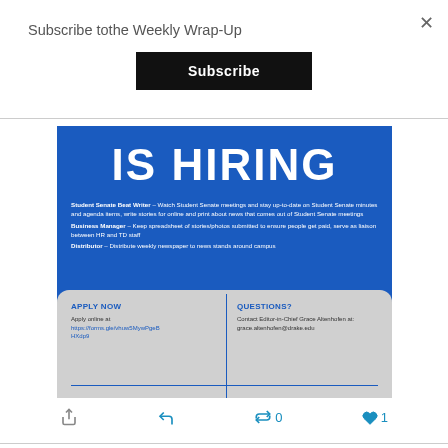Subscribe tothe Weekly Wrap-Up
Subscribe
[Figure (infographic): Blue recruitment poster reading 'IS HIRING' in large white bold text, with job descriptions for Student Senate Beat Writer, Business Manager, and Distributor. Bottom section has a torn paper effect with 'APPLY NOW' and 'QUESTIONS?' columns.]
0
1